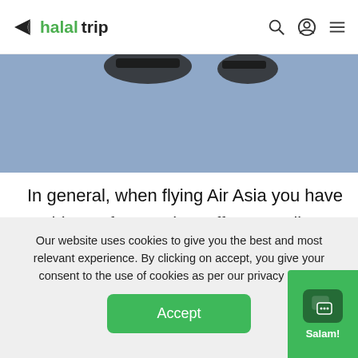halaltrip
[Figure (photo): Partial view of airplane or travel-related image with blue sky background, partially cropped at top of page]
In general, when flying Air Asia you have nothing to fear as they offer a Muslim-friendly in-flight food menu for all meals. They source all their meat from Halal certified suppliers, with the exception of AirAsia Japan and the Philippines.
Our website uses cookies to give you the best and most relevant experience. By clicking on accept, you give your consent to the use of cookies as per our privacy policy.